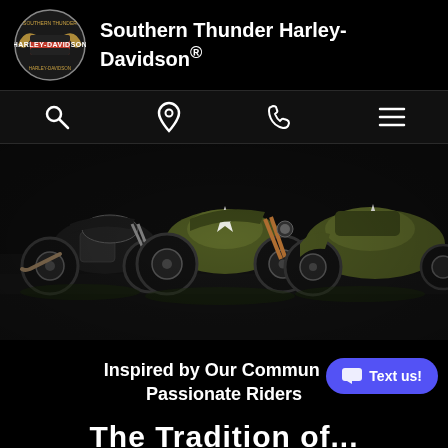[Figure (logo): Southern Thunder Harley-Davidson circular logo with eagle wings and Harley-Davidson shield emblem]
Southern Thunder Harley-Davidson®
[Figure (infographic): Navigation icon bar with search (magnifying glass), location pin, phone, and hamburger menu icons on dark background]
[Figure (photo): Three military-green Harley-Davidson motorcycles with gold star emblems displayed on a dark reflective surface]
Inspired by Our Community. Passionate Riders
[Figure (other): Blue rounded 'Text us!' chat button with speech bubble icon]